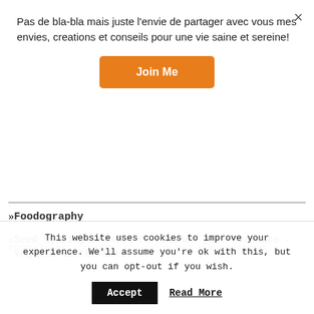Pas de bla-bla mais juste l’envie de partager avec vous mes envies, creations et conseils pour une vie saine et sereine!
Join Me
Foodography
Seed Cycling Granola to balance your hormones – Vegan & Gluten-Free
EVERYTHING YOU NEED FOR YOUR WEEKLY SHOPPING
This website uses cookies to improve your experience. We'll assume you're ok with this, but you can opt-out if you wish.
Accept
Read More